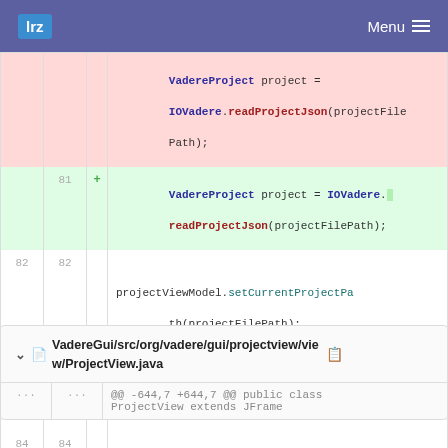lrz   Menu
[Figure (screenshot): Code diff view showing changes to a Java file. Deleted lines (pink background) show VadereProject project = IOVadere.readProjectJson(projectFilePath); and added lines (green background) show VadereProject project = IOVadere.readProjectJson(projectFilePath); followed by unchanged lines 82-84 with projectViewModel.setCurrentProjectPath(projectFilePath); and projectViewModel.setProject(project);]
VaderGui/src/org/vadere/gui/projectview/view/ProjectView.java
@@ -644,7 +644,7 @@ public class ProjectView extends JFrame